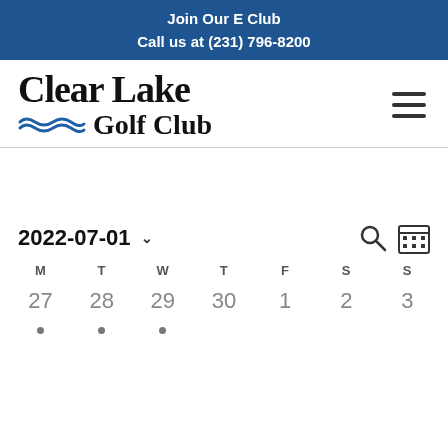Join Our E Club
Call us at (231) 796-8200
[Figure (logo): Clear Lake Golf Club logo with wave graphic]
2022-07-01
| M | T | W | T | F | S | S |
| --- | --- | --- | --- | --- | --- | --- |
| 27 | 28 | 29 | 30 | 1 | 2 | 3 |